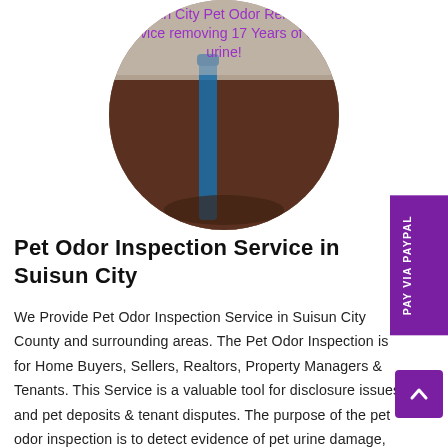[Figure (photo): Circular cropped photo of a pet odor removal technician working on a dark stained floor, with a blue tool/wand visible. Overlaid with purple text: 'Suisun City Pet Odor Removal Service removing 17 Years of dog urine!']
Pet Odor Inspection Service in Suisun City
We Provide Pet Odor Inspection Service in Suisun City County and surrounding areas. The Pet Odor Inspection is for Home Buyers, Sellers, Realtors, Property Managers & Tenants. This Service is a valuable tool for disclosure issues and pet deposits & tenant disputes. The purpose of the pet odor inspection is to detect evidence of pet urine damage, provide a summary report of our findings and a itemized estimate to remove the odor.